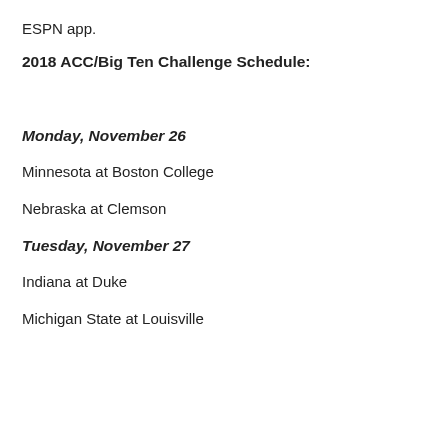ESPN app.
2018 ACC/Big Ten Challenge Schedule:
Monday, November 26
Minnesota at Boston College
Nebraska at Clemson
Tuesday, November 27
Indiana at Duke
Michigan State at Louisville